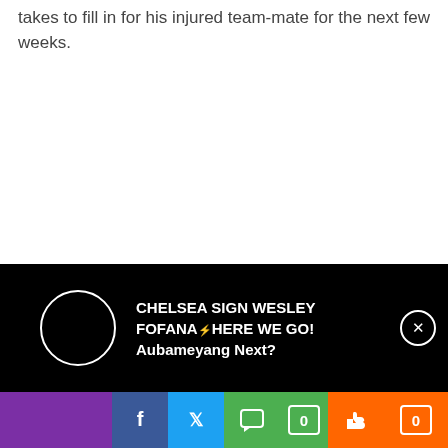takes to fill in for his injured team-mate for the next few weeks.
Lage and everyone at Molineux will undoubtedly be
[Figure (screenshot): Black overlay notification banner showing 'CHELSEA SIGN WESLEY FOFANA HERE WE GO! Aubameyang Next?' with a circular avatar outline and a close (X) button]
[Figure (infographic): Social sharing bar with purple section, Facebook (blue), Twitter (blue), comment/chat (green with count 0), thumbs up/like (orange with count 0)]